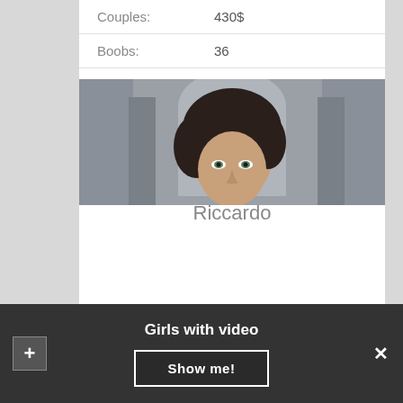| Couples: | 430$ |
| Boobs: | 36 |
VIDEO
Funny and naughty
Riccardo
[Figure (photo): Portrait photo of a dark-haired woman, partially cropped, with a grey decorative architectural background]
Girls with video
Show me!